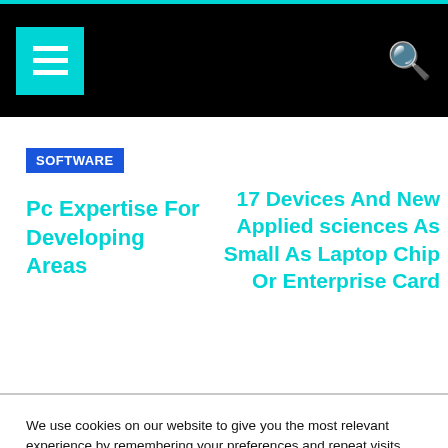SOFTWARE
Pc Expertise For Developing Areas
17 Devices And New Applied sciences As Small As Laptop Chip Or Enterprise Card
We use cookies on our website to give you the most relevant experience by remembering your preferences and repeat visits. By clicking “Accept All”, you consent to the use of ALL the cookies. However, you may visit "Cookie Settings" to provide a controlled consent.
Cookie Settings | Accept All